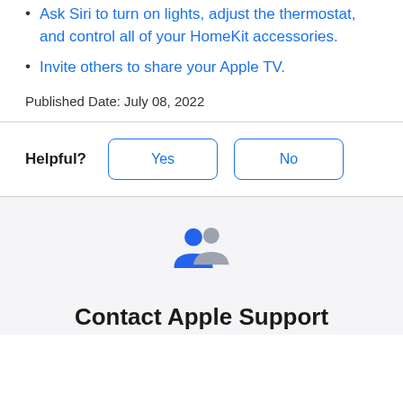Ask Siri to turn on lights, adjust the thermostat, and control all of your HomeKit accessories.
Invite others to share your Apple TV.
Published Date: July 08, 2022
[Figure (infographic): Helpful? feedback buttons with Yes and No options]
[Figure (illustration): Contact Apple Support icon showing two person silhouettes, one blue and one gray]
Contact Apple Support